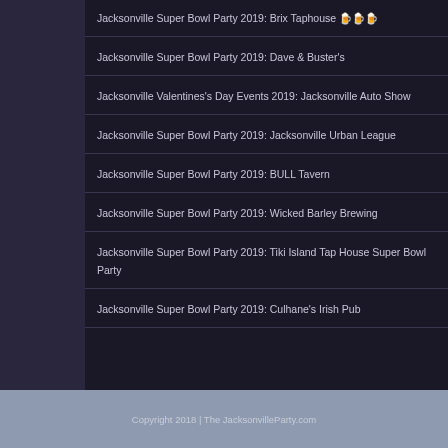Jacksonville Super Bowl Party 2019: Brix Taphouse 🍺🍺🍺
Jacksonville Super Bowl Party 2019: Dave & Buster's
Jacksonville Valentines's Day Events 2019: Jacksonville Auto Show
Jacksonville Super Bowl Party 2019: Jacksonville Urban League
Jacksonville Super Bowl Party 2019: BULL Tavern
Jacksonville Super Bowl Party 2019: Wicked Barley Brewing
Jacksonville Super Bowl Party 2019: Tiki Island Tap House Super Bowl Party
Jacksonville Super Bowl Party 2019: Culhane's Irish Pub
Copyright 2018 | The JacksonvilleParty.com